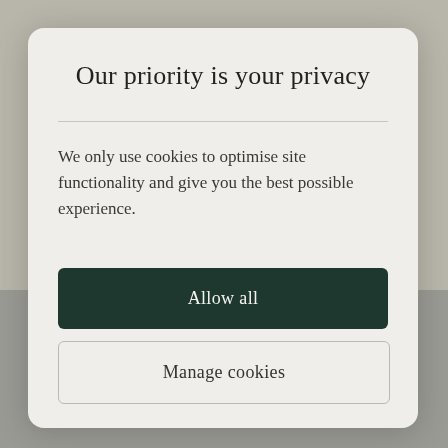Our priority is your privacy
We only use cookies to optimise site functionality and give you the best possible experience.
Allow all
Manage cookies